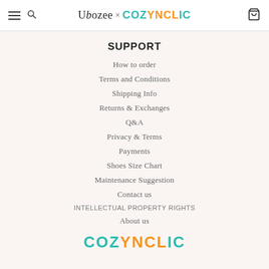Ubozee × COZYNCLIC
SUPPORT
How to order
Terms and Conditions
Shipping Info
Returns & Exchanges
Q&A
Privacy & Terms
Payments
Shoes Size Chart
Maintenance Suggestion
Contact us
INTELLECTUAL PROPERTY RIGHTS
About us
[Figure (logo): COZYNCLIC logo in teal and orange colors]